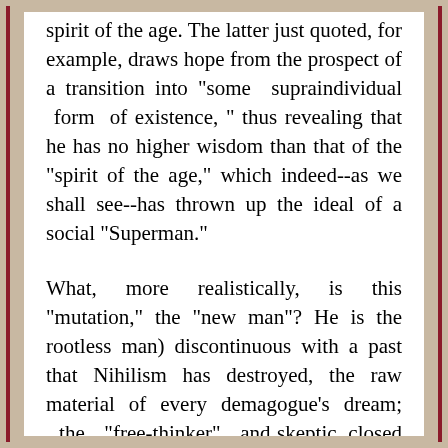spirit of the age. The latter just quoted, for example, draws hope from the prospect of a transition into "some supraindividual form of existence, " thus revealing that he has no higher wisdom than that of the "spirit of the age," which indeed--as we shall see--has thrown up the ideal of a social "Superman."
What, more realistically, is this "mutation," the "new man"? He is the rootless man) discontinuous with a past that Nihilism has destroyed, the raw material of every demagogue's dream; the "free-thinker" and skeptic, closed only to the truth but "open" to each new intellectual fashion because he himself has no intellectual foundation; the "seeker" after some "new revelation," ready to believe anything new because true